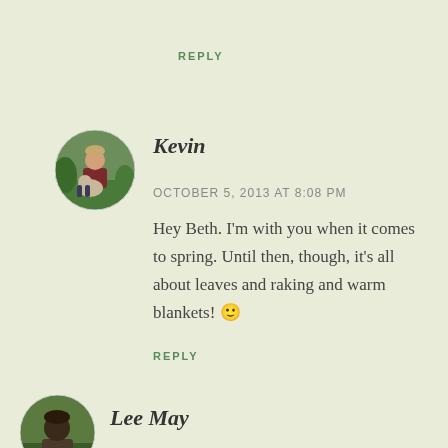REPLY
[Figure (photo): Circular avatar photo of Kevin, a man crouching with a dog in a garden setting]
Kevin
OCTOBER 5, 2013 AT 8:08 PM
Hey Beth. I'm with you when it comes to spring. Until then, though, it's all about leaves and raking and warm blankets! 🙂
REPLY
[Figure (photo): Circular avatar photo of Lee May, a man outdoors]
Lee May